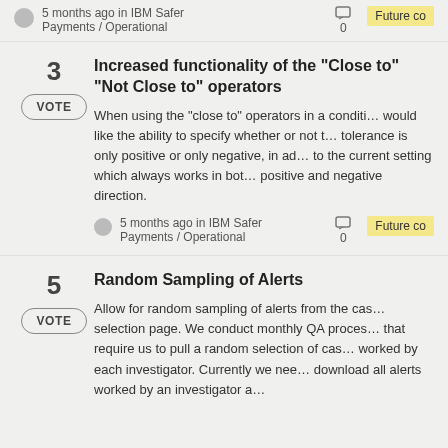table result. The main place we would like…
5 months ago in IBM Safer Payments / Operational · 0 · Future co…
Increased functionality of the "Close to" "Not Close to" operators
When using the "close to" operators in a condition would like the ability to specify whether or not the tolerance is only positive or only negative, in addition to the current setting which always works in both positive and negative direction.
5 months ago in IBM Safer Payments / Operational · 0 · Future co…
Random Sampling of Alerts
Allow for random sampling of alerts from the case selection page. We conduct monthly QA processes that require us to pull a random selection of cases worked by each investigator. Currently we need to download all alerts worked by an investigator a…